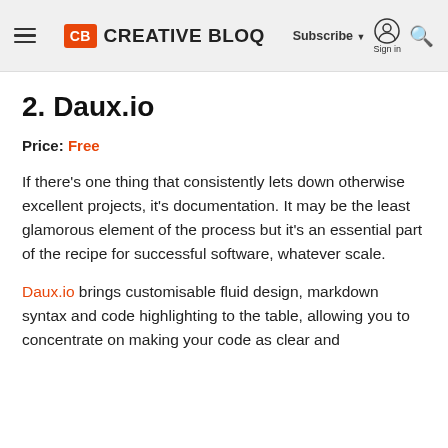CB CREATIVE BLOQ | Subscribe ▼ Sign in 🔍
2. Daux.io
Price: Free
If there's one thing that consistently lets down otherwise excellent projects, it's documentation. It may be the least glamorous element of the process but it's an essential part of the recipe for successful software, whatever scale.
Daux.io brings customisable fluid design, markdown syntax and code highlighting to the table, allowing you to concentrate on making your code as clear and